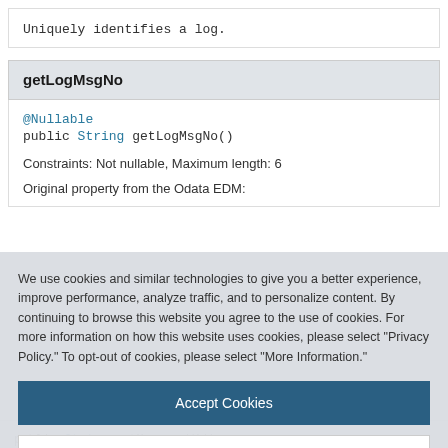Uniquely identifies a log.
getLogMsgNo
@Nullable
public String getLogMsgNo()
Constraints: Not nullable, Maximum length: 6
Original property from the Odata EDM:
We use cookies and similar technologies to give you a better experience, improve performance, analyze traffic, and to personalize content. By continuing to browse this website you agree to the use of cookies. For more information on how this website uses cookies, please select "Privacy Policy." To opt-out of cookies, please select "More Information."
Accept Cookies
More Information
Privacy Policy | Powered by: TrustArc
public String getMessageV1()